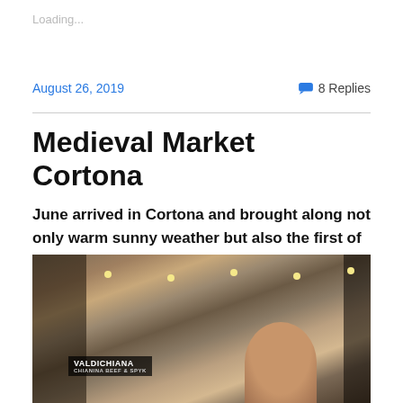Loading...
August 26, 2019
8 Replies
Medieval Market Cortona
June arrived in Cortona and brought along not only warm sunny weather but also the first of several annual summer festivals. Last weekend was the Medieval Market filled with games, costumes, food, shops and entertainment. Here'a a sampling…
[Figure (photo): Outdoor medieval market street scene in Cortona with sign reading VALDICHIANA and string lights, historic building in background with a no parking sign visible]